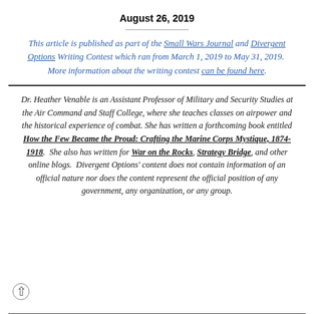August 26, 2019
This article is published as part of the Small Wars Journal and Divergent Options Writing Contest which ran from March 1, 2019 to May 31, 2019.  More information about the writing contest can be found here.
Dr. Heather Venable is an Assistant Professor of Military and Security Studies at the Air Command and Staff College, where she teaches classes on airpower and the historical experience of combat. She has written a forthcoming book entitled How the Few Became the Proud: Crafting the Marine Corps Mystique, 1874-1918.  She also has written for War on the Rocks, Strategy Bridge, and other online blogs.  Divergent Options' content does not contain information of an official nature nor does the content represent the official position of any government, any organization, or any group.